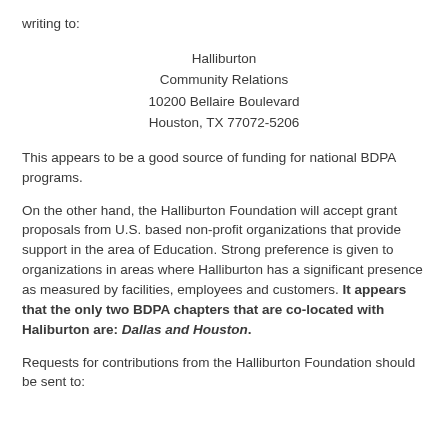writing to:
Halliburton
Community Relations
10200 Bellaire Boulevard
Houston, TX 77072-5206
This appears to be a good source of funding for national BDPA programs.
On the other hand, the Halliburton Foundation will accept grant proposals from U.S. based non-profit organizations that provide support in the area of Education. Strong preference is given to organizations in areas where Halliburton has a significant presence as measured by facilities, employees and customers. It appears that the only two BDPA chapters that are co-located with Haliburton are: Dallas and Houston.
Requests for contributions from the Halliburton Foundation should be sent to: